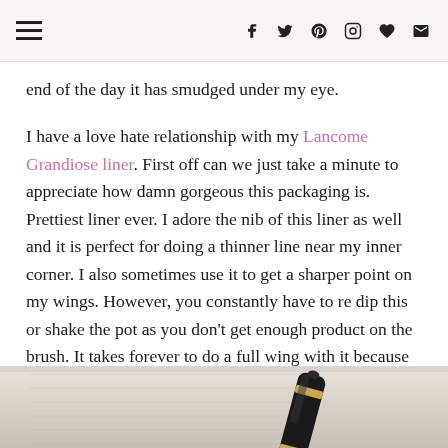[ hamburger menu ] f  t  p  instagram  heart  email
end of the day it has smudged under my eye.

I have a love hate relationship with my Lancome Grandiose liner. First off can we just take a minute to appreciate how damn gorgeous this packaging is. Prettiest liner ever. I adore the nib of this liner as well and it is perfect for doing a thinner line near my inner corner. I also sometimes use it to get a sharper point on my wings. However, you constantly have to re dip this or shake the pot as you don't get enough product on the brush. It takes forever to do a full wing with it because you spend more time shaking it. It does give me wings sharp enough to kill a man though. Do you see my dilemma?
[Figure (photo): A product photo showing a Lancome Grandiose liner (mascara-like black and gold tube) on a light surface with printed text/paper underneath]